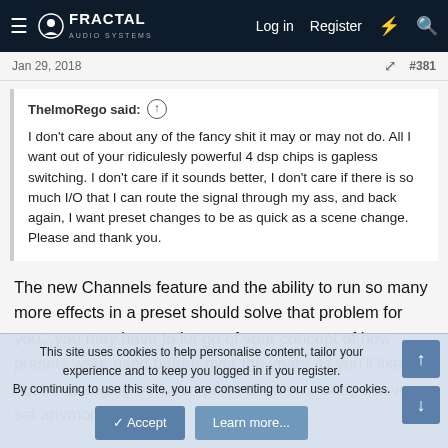Fractal Audio Systems — Log in  Register
Jan 29, 2018  #381
ThelmoRego said: ↑
I don't care about any of the fancy shit it may or may not do. All I want out of your ridiculesly powerful 4 dsp chips is gapless switching. I don't care if it sounds better, I don't care if there is so much I/O that I can route the signal through my ass, and back again, I want preset changes to be as quick as a scene change. Please and thank you.
The new Channels feature and the ability to run so many more effects in a preset should solve that problem for you...you may have to let go of your concept of how presets were used before over the years as you'll likely not be changing between presets within a song or even a set anymore.
This site uses cookies to help personalise content, tailor your experience and to keep you logged in if you register.
By continuing to use this site, you are consenting to our use of cookies.